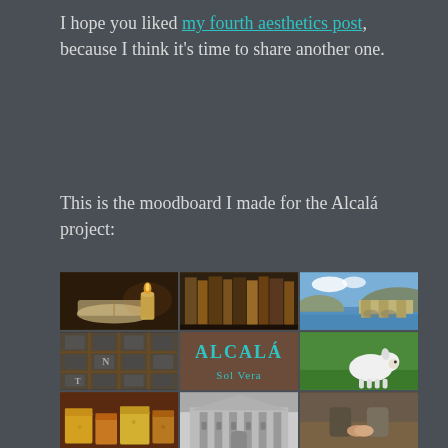I hope you liked my fourth aesthetics post, because I think it's time to share another one.
This is the moodboard I made for the Alcalá project:
[Figure (photo): 3x3 moodboard grid. Row 1: open book with candle, shelf of old books, scenic bridge and river. Row 2: letterpress type blocks, brown card with 'ALCALÁ / Sol Vera' in teal, white lamb on grass. Row 3: assorted cheeses, black-and-white ornate building facade, two people holding hands.]